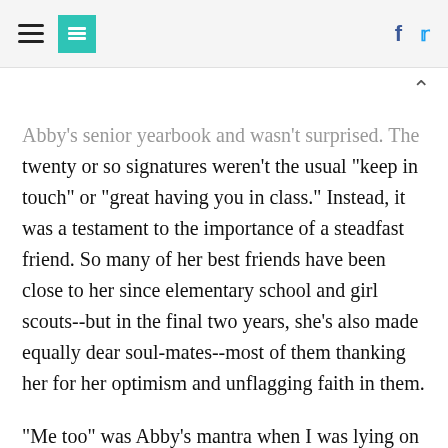[HuffPost logo header with hamburger menu, teal logo, facebook and twitter icons]
Abby's senior yearbook and wasn't surprised. The twenty or so signatures weren't the usual "keep in touch" or "great having you in class." Instead, it was a testament to the importance of a steadfast friend. So many of her best friends have been close to her since elementary school and girl scouts--but in the final two years, she's also made equally dear soul-mates--most of them thanking her for her optimism and unflagging faith in them.
"Me too" was Abby's mantra when I was lying on my back and tossing around Aidan. It was the request to go along on a dog-walk or to be read-to at night. It